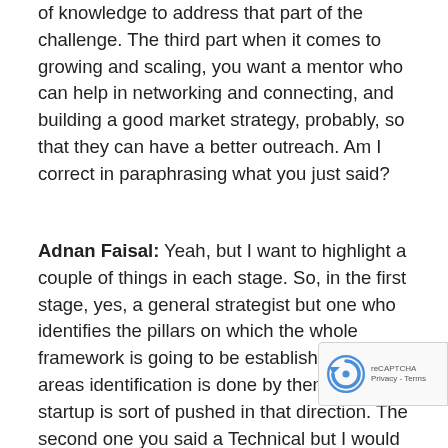of knowledge to address that part of the challenge. The third part when it comes to growing and scaling, you want a mentor who can help in networking and connecting, and building a good market strategy, probably, so that they can have a better outreach. Am I correct in paraphrasing what you just said?
Adnan Faisal: Yeah, but I want to highlight a couple of things in each stage. So, in the first stage, yes, a general strategist but one who identifies the pillars on which the whole framework is going to be established, so the areas identification is done by them and the startup is sort of pushed in that direction. The second one you said a Technical but I would rather use the word domain so maybe technology would come by default, and could be a prerequisite, it is the business industry in which they are working, so the specialists of that particular industry is what I would like to highlight, and in the third stage, more than networking I would say, building the strategic case or business plan for growth is much more important. That then